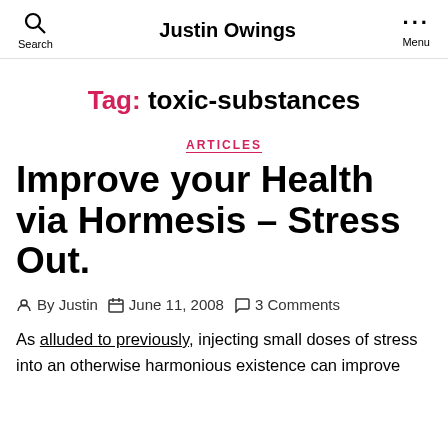Justin Owings
Tag: toxic-substances
ARTICLES
Improve your Health via Hormesis – Stress Out.
By Justin  June 11, 2008  3 Comments
As alluded to previously, injecting small doses of stress into an otherwise harmonious existence can improve